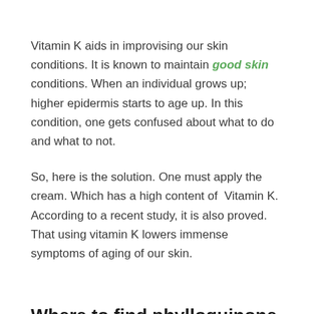Vitamin K aids in improvising our skin conditions. It is known to maintain good skin conditions. When an individual grows up; higher epidermis starts to age up. In this condition, one gets confused about what to do and what to not.
So, here is the solution. One must apply the cream. Which has a high content of Vitamin K. According to a recent study, it is also proved. That using vitamin K lowers immense symptoms of aging of our skin.
Where to find phylloquinone